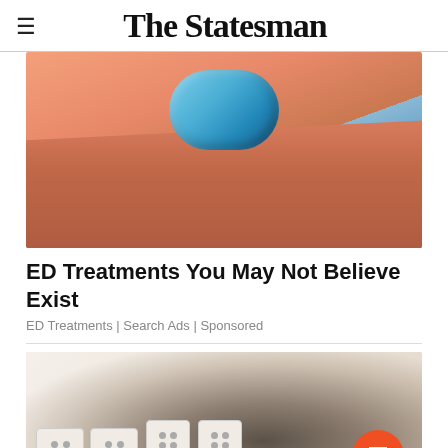The Statesman
[Figure (photo): Close-up photo of a blue pill being held between two fingers]
ED Treatments You May Not Believe Exist
ED Treatments | Search Ads | Sponsored
[Figure (photo): Photo of a wall with black mold growing around electrical outlets]